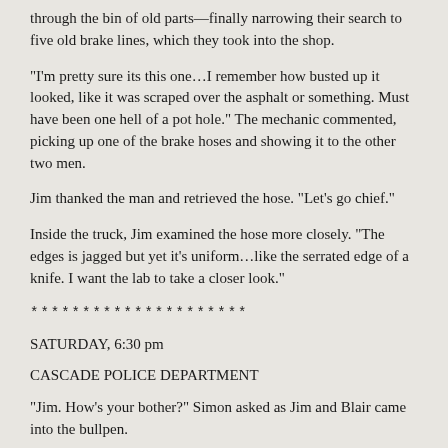through the bin of old parts—finally narrowing their search to five old brake lines, which they took into the shop.
"I'm pretty sure its this one…I remember how busted up it looked, like it was scraped over the asphalt or something. Must have been one hell of a pot hole." The mechanic commented, picking up one of the brake hoses and showing it to the other two men.
Jim thanked the man and retrieved the hose. "Let's go chief."
Inside the truck, Jim examined the hose more closely. "The edges is jagged but yet it's uniform…like the serrated edge of a knife. I want the lab to take a closer look."
*********************
SATURDAY, 6:30 pm
CASCADE POLICE DEPARTMENT
"Jim. How's your bother?" Simon asked as Jim and Blair came into the bullpen.